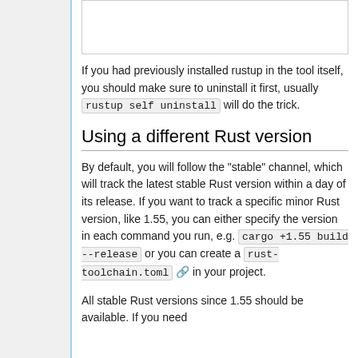[Figure (other): White rectangular image placeholder at top of content area]
If you had previously installed rustup in the tool itself, you should make sure to uninstall it first, usually rustup self uninstall will do the trick.
Using a different Rust version
By default, you will follow the "stable" channel, which will track the latest stable Rust version within a day of its release. If you want to track a specific minor Rust version, like 1.55, you can either specify the version in each command you run, e.g. cargo +1.55 build --release or you can create a rust-toolchain.toml in your project.
All stable Rust versions since 1.55 should be available. If you need